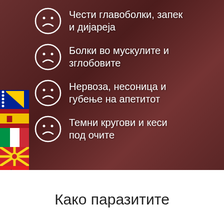[Figure (infographic): Dark reddish-brown background image of meat/tissue with semi-transparent overlay, serving as background for medical symptom list]
[Figure (infographic): Vertical sidebar with 5 country flags: Bosnia, Spain, Italy, North Macedonia, Albania]
Чести главоболки, запек и дијареја
Болки во мускулите и зглобовите
Нервоза, несоница и губење на апетитот
Темни кругови и кеси под очите
Како паразитите